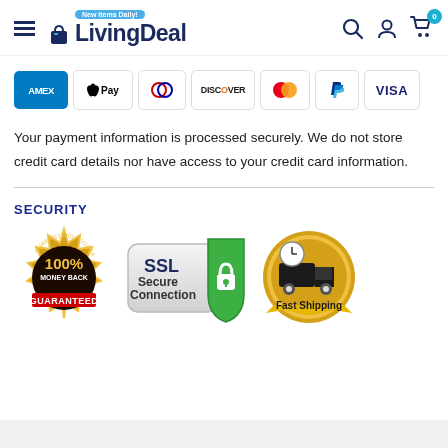LivingDeal — New Items Daily
[Figure (infographic): Payment method icons: AMEX, Apple Pay, Diners Club, Discover, Mastercard, PayPal, VISA]
Your payment information is processed securely. We do not store credit card details nor have access to your credit card information.
SECURITY
[Figure (infographic): Three security badges: 100% Money Back Guaranteed seal, SSL Secure Connection badge with green shield, Fast Shipping badge with delivery truck]